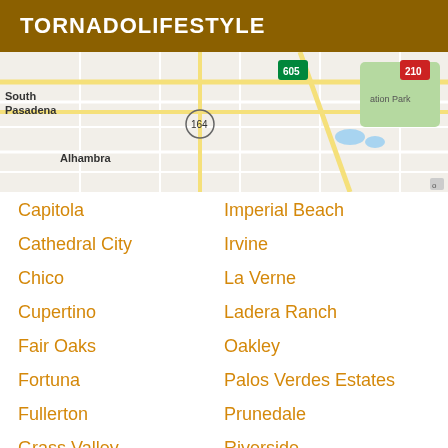TORNADOLIFESTYLE
[Figure (map): Street map showing South Pasadena, Alhambra area with route 164, route 605, route 210 highways visible]
Capitola
Imperial Beach
Cathedral City
Irvine
Chico
La Verne
Cupertino
Ladera Ranch
Fair Oaks
Oakley
Fortuna
Palos Verdes Estates
Fullerton
Prunedale
Grass Valley
Riverside
Hemet
San Francisco
Hesperia
Ukiah